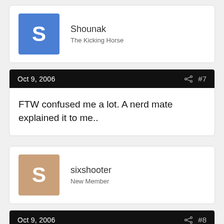Shounak
The Kicking Horse
Oct 9, 2006  #7
FTW confused me a lot. A nerd mate explained it to me..
sixshooter
New Member
Oct 9, 2006  #8